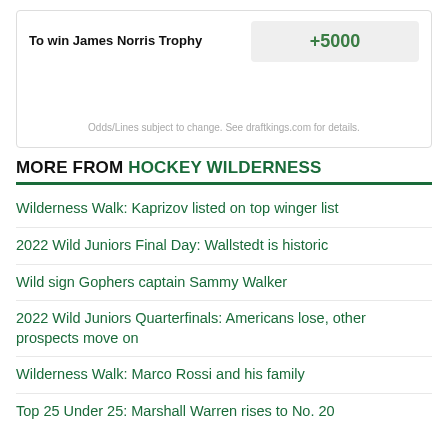| Bet | Odds |
| --- | --- |
| To win James Norris Trophy | +5000 |
Odds/Lines subject to change. See draftkings.com for details.
MORE FROM HOCKEY WILDERNESS
Wilderness Walk: Kaprizov listed on top winger list
2022 Wild Juniors Final Day: Wallstedt is historic
Wild sign Gophers captain Sammy Walker
2022 Wild Juniors Quarterfinals: Americans lose, other prospects move on
Wilderness Walk: Marco Rossi and his family
Top 25 Under 25: Marshall Warren rises to No. 20